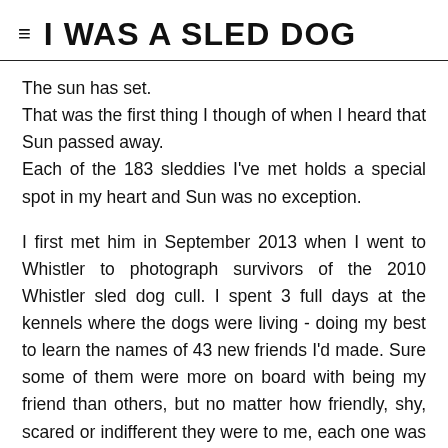I WAS A SLED DOG
The sun has set.
That was the first thing I though of when I heard that Sun passed away.
Each of the 183 sleddies I've met holds a special spot in my heart and Sun was no exception.
I first met him in September 2013 when I went to Whistler to photograph survivors of the 2010 Whistler sled dog cull. I spent 3 full days at the kennels where the dogs were living - doing my best to learn the names of 43 new friends I'd made. Sure some of them were more on board with being my friend than others, but no matter how friendly, shy, scared or indifferent they were to me, each one was truly unique in personality and spirit.